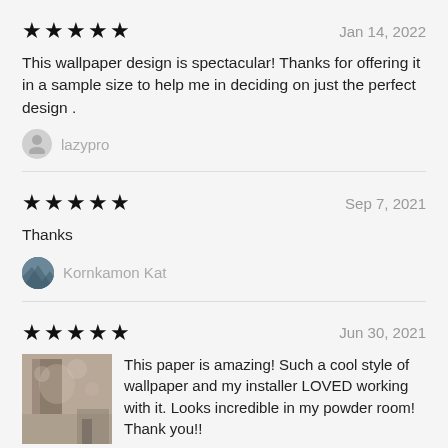★★★★★   Jan 14, 2022
This wallpaper design is spectacular! Thanks for offering it in a sample size to help me in deciding on just the perfect design .
lazypro
★★★★★   Sep 7, 2021
Thanks
Kornkamon Kat
★★★★★   Jun 30, 2021
This paper is amazing! Such a cool style of wallpaper and my installer LOVED working with it. Looks incredible in my powder room! Thank you!!